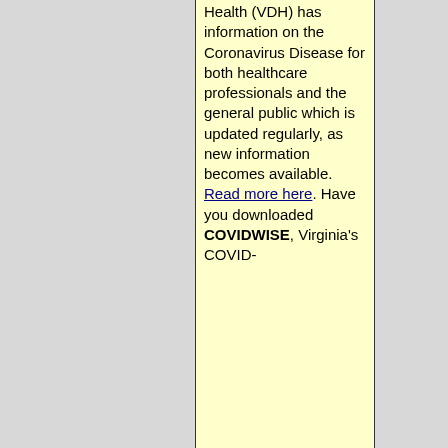Health (VDH) has information on the Coronavirus Disease for both healthcare professionals and the general public which is updated regularly, as new information becomes available. Read more here. Have you downloaded COVIDWISE, Virginia's COVID-